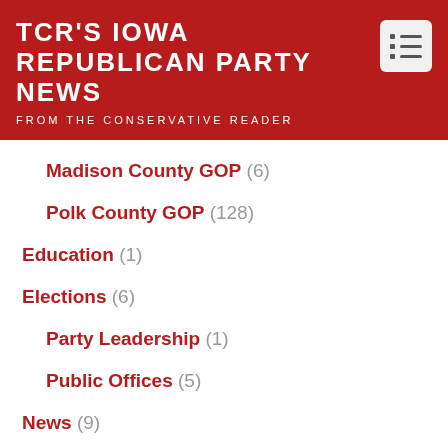TCR'S IOWA REPUBLICAN PARTY NEWS
FROM THE CONSERVATIVE READER
Madison County GOP (6)
Polk County GOP (128)
Education (1)
Elections (6)
Party Leadership (1)
Public Offices (5)
News (9)
Republican Party of Iowa (3)
Uncategorized (73)